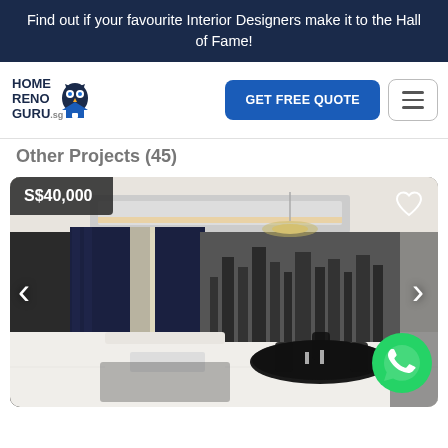Find out if your favourite Interior Designers make it to the Hall of Fame!
[Figure (logo): HomeRenoGuru.sg logo with owl icon]
Other Projects (45)
[Figure (photo): Interior design photo of a modern living and dining room with dark curtains, crystal chandelier, cityscape mural wallpaper, black round dining table with ghost chairs, and white sofa. Price tag shows S$40,000. Navigation arrows on left and right sides. WhatsApp button in bottom right corner.]